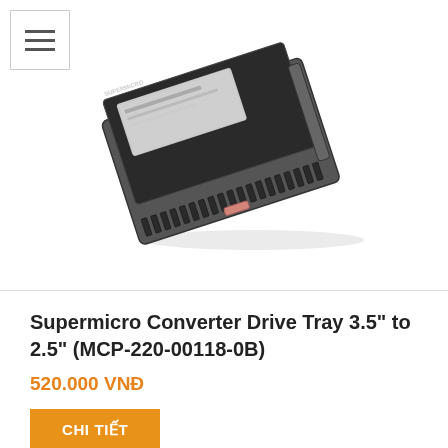[Figure (photo): Photo of a Supermicro Converter Drive Tray 3.5 inch to 2.5 inch (MCP-220-00118-0B) product, shown at an angle with hard drive mounted]
Supermicro Converter Drive Tray 3.5" to 2.5" (MCP-220-00118-0B)
520.000 VNĐ
CHI TIẾT
[Figure (photo): Photo of a Supermicro RSC-R1UU-2E8 PCIe riser card, green PCB with gold edge connector and black PCIe slots, shown at an angle]